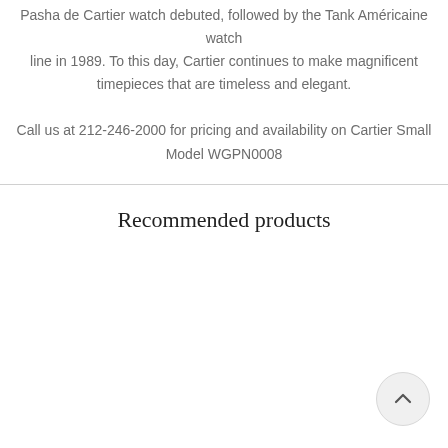Pasha de Cartier watch debuted, followed by the Tank Américaine watch line in 1989. To this day, Cartier continues to make magnificent timepieces that are timeless and elegant.
Call us at 212-246-2000 for pricing and availability on Cartier Small Model WGPN0008
Recommended products